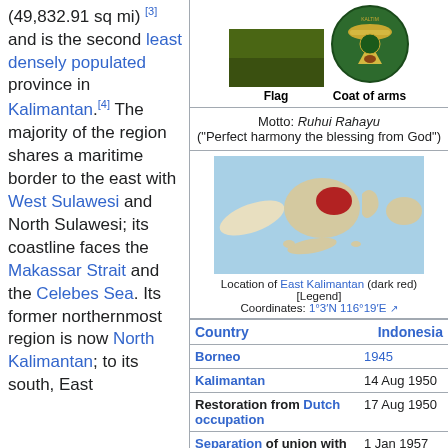(49,832.91 sq mi) [3] and is the second least densely populated province in Kalimantan.[4] The majority of the region shares a maritime border to the east with West Sulawesi and North Sulawesi; its coastline faces the Makassar Strait and the Celebes Sea. Its former northernmost region is now North Kalimantan; to its south, East ...
[Figure (photo): Flag of East Kalimantan - dark olive/green rectangular flag]
Flag
[Figure (illustration): Coat of arms of East Kalimantan - circular green emblem]
Coat of arms
Motto: Ruhui Rahayu ("Perfect harmony the blessing from God")
[Figure (map): Location map of East Kalimantan (dark red) within Indonesia]
Location of East Kalimantan (dark red) [Legend] Coordinates: 1°3′N 116°19′E
| Country | Indonesia |
| --- | --- |
| Borneo | 1945 |
| Kalimantan | 14 Aug 1950 |
| Restoration from Dutch occupation | 17 Aug 1950 |
| Separation of union with Kalimantan | 1 Jan 1957 |
| Capital (and largest city) | [icon] Samarinda |